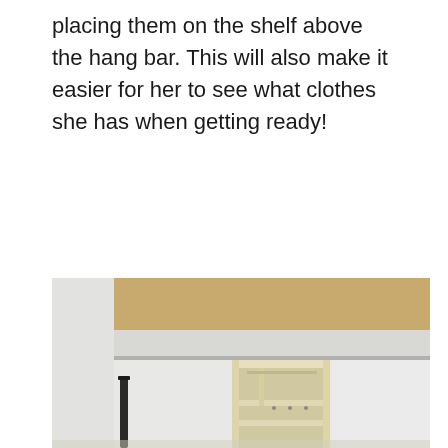placing them on the shelf above the hang bar. This will also make it easier for her to see what clothes she has when getting ready!
[Figure (photo): Interior of a closet or room showing a wooden shelf unit with multiple open compartments/cubbies installed beneath a large overhead shelf. The shelf unit is light-colored wood (unfinished/natural). A dark metal pole or rod is visible on the left side. The walls are white and the overall setting appears to be a DIY closet build in progress.]